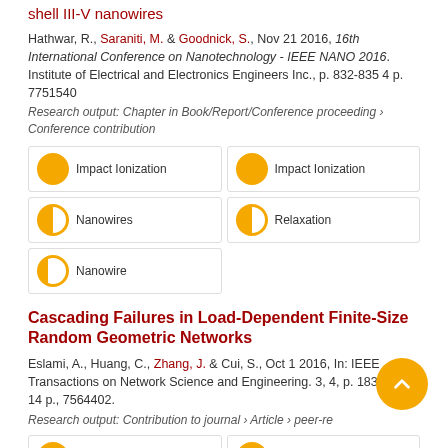shell III-V nanowires
Hathwar, R., Saraniti, M. & Goodnick, S., Nov 21 2016, 16th International Conference on Nanotechnology - IEEE NANO 2016. Institute of Electrical and Electronics Engineers Inc., p. 832-835 4 p. 7751540
Research output: Chapter in Book/Report/Conference proceeding › Conference contribution
Impact Ionization
Impact Ionization
Nanowires
Relaxation
Nanowire
Cascading Failures in Load-Dependent Finite-Size Random Geometric Networks
Eslami, A., Huang, C., Zhang, J. & Cui, S., Oct 1 2016, In: IEEE Transactions on Network Science and Engineering. 3, 4, p. 183-196 14 p., 7564402.
Research output: Contribution to journal › Article › peer-reviewed
Cyber Physical System
Phase Transitions